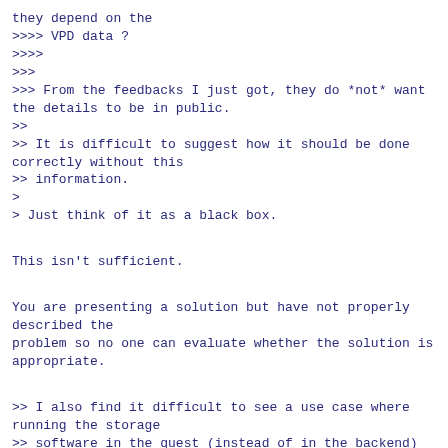they depend on the
>>>> VPD data ?
>>>>
>>>
>>> From the feedbacks I just got, they do *not* want the details to be in public.
>>
>> It is difficult to suggest how it should be done correctly without this
>> information.
>
> Just think of it as a black box.

This isn't sufficient.

You are presenting a solution but have not properly described the
problem so no one can evaluate whether the solution is appropriate.

>> I also find it difficult to see a use case where running the storage
>> software in the guest (instead of in the backend) is sensible or desirable.
>
> Are you suggesting that doing backend drivers is not sensible?

I do not understand your question.